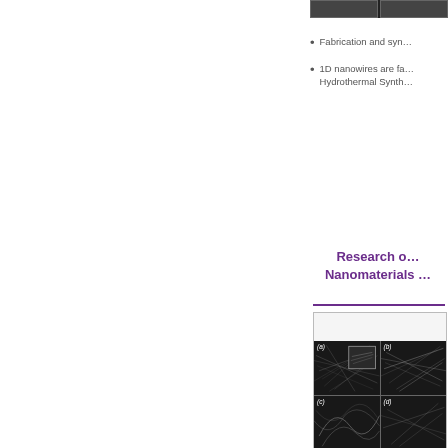[Figure (photo): Top image strip showing microscopy images (partial, cropped)]
Fabrication and syn…
1D nanowires are fa… Hydrothermal Synth…
Research o… Nanomaterials …
[Figure (photo): SEM images of nanowires arranged in a 2x2 grid, labeled (a), (b), (c), (d). Panel (a) shows tangled nanowire network with an inset at higher magnification. Panel (b) shows similar nanowire structures.]